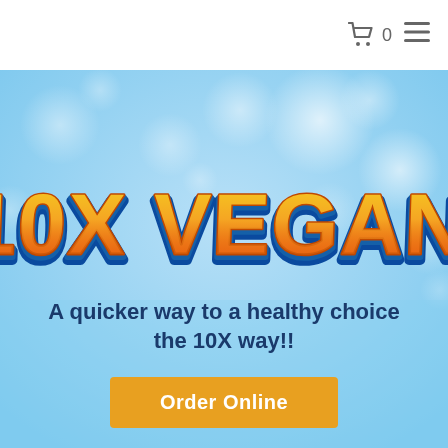🛒 0 ☰
[Figure (illustration): 10X Vegan logo with orange and gold 3D lettering on a blue background, displayed over a light blue bokeh background]
A quicker way to a healthy choice the 10X way!!
Order Online